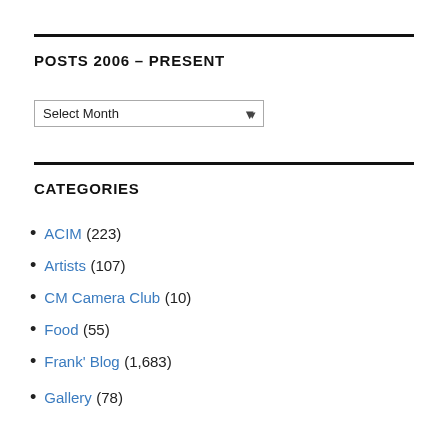POSTS 2006 – PRESENT
[Figure (screenshot): A dropdown select box labeled 'Select Month' with a down-arrow indicator]
CATEGORIES
ACIM (223)
Artists (107)
CM Camera Club (10)
Food (55)
Frank' Blog (1,683)
Gallery (78)